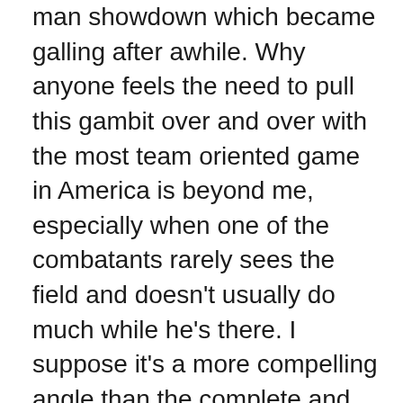man showdown which became galling after awhile. Why anyone feels the need to pull this gambit over and over with the most team oriented game in America is beyond me, especially when one of the combatants rarely sees the field and doesn't usually do much while he's there. I suppose it's a more compelling angle than the complete and total inefficacy of Lousiana's elected officials, a permanent condition of human existence below only death and taxes in it's constancy- ask Huey P. Long, but only marginally so. I employed a clever strategem that involved watching the game then quickly changing the channel to Ice Road Truckers during the pleas to help feed the jazz musicians. If they had Sally Strothers hugging all over Brees and Bush instead of Spike Lee I probably would have watched though, just to see their faces. I bet even hardened gutty football players, used to being grappled and